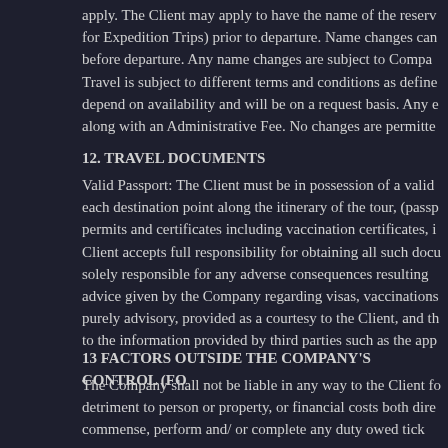apply. The Client may apply to have the name of the reserv... for Expedition Trips) prior to departure. Name changes can... before departure. Any name changes are subject to Compa... Travel is subject to different terms and conditions as define... depend on availability and will be on a request basis. Any e... along with an Administrative Fee. No changes are permitte...
12. TRAVEL DOCUMENTS
Valid Passport: The Client must be in possession of a valid... each destination point along the itinerary of the tour, (passp... permits and certificates including vaccination certificates, i... Client accepts full responsibility for obtaining all such docu... solely responsible for any adverse consequences resulting... advice given by the Company regarding visas, vaccinations... purely advisory, provided as a courtesy to the Client, and th... to the information provided by third parties such as the app...
13 FACTORS OUTSIDE THE COMPANY'S CONTROL (FO...
The Company shall not be liable in any way to the Client fo... detriment to person or property, or financial costs both dire... commense, perform and/ or complete any duty owed tick...